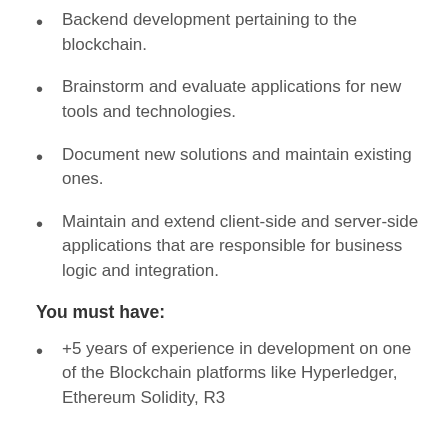Backend development pertaining to the blockchain.
Brainstorm and evaluate applications for new tools and technologies.
Document new solutions and maintain existing ones.
Maintain and extend client-side and server-side applications that are responsible for business logic and integration.
You must have:
+5 years of experience in development on one of the Blockchain platforms like Hyperledger, Ethereum Solidity, R3